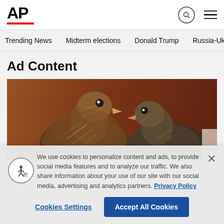[Figure (logo): AP (Associated Press) logo with red underbar]
Trending News  Midterm elections  Donald Trump  Russia-Ukr
Ad Content
[Figure (photo): Close-up photo of two quail or similar small birds against a reddish-brown wooden background]
We use cookies to personalize content and ads, to provide social media features and to analyze our traffic. We also share information about your use of our site with our social media, advertising and analytics partners. Privacy Policy
Cookies Settings
Accept All Cookies